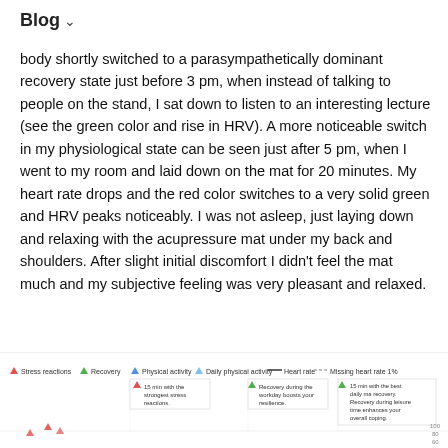Blog ˅
body shortly switched to a parasympathetically dominant recovery state just before 3 pm, when instead of talking to people on the stand, I sat down to listen to an interesting lecture (see the green color and rise in HRV). A more noticeable switch in my physiological state can be seen just after 5 pm, when I went to my room and laid down on the mat for 20 minutes. My heart rate drops and the red color switches to a very solid green and HRV peaks noticeably. I was not asleep, just laying down and relaxing with the acupressure mat under my back and shoulders. After slight initial discomfort I didn't feel the mat much and my subjective feeling was very pleasant and relaxed.
[Figure (other): Partial view of a health/HRV tracking chart showing stress reactions, recovery, physical activity, daily physical activity, heart rate, and missing heart rate legend. Annotations visible include '15 min with the strongest stress reactions', 'Recovery during the workday boosts your resilience', and '15 min with the best daily ma recovery. Recovery during leisure time enhances your overall coping.']